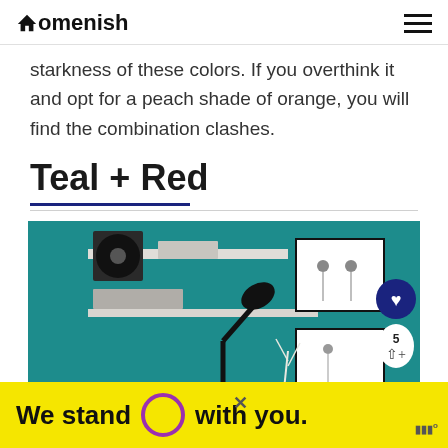Homenish
starkness of these colors. If you overthink it and opt for a peach shade of orange, you will find the combination clashes.
Teal + Red
[Figure (photo): A room with teal/dark cyan walls featuring white floating shelves with a turntable and bowls, a black desk lamp, framed botanical prints on the wall, and a small white vase with branches. Social sharing UI overlaid on the right side.]
[Figure (infographic): Yellow advertisement bar at the bottom reading 'We stand O with you.' with a purple circle O symbol and an X close button.]